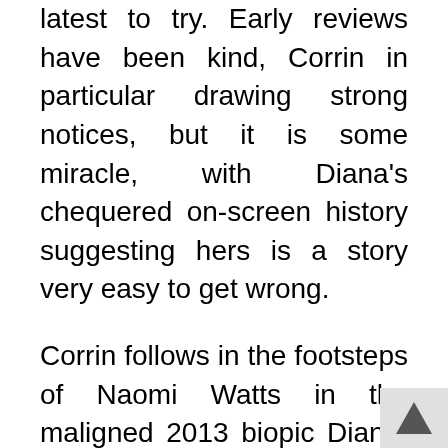latest to try. Early reviews have been kind, Corrin in particular drawing strong notices, but it is some miracle, with Diana's chequered on-screen history suggesting hers is a story very easy to get wrong.
Corrin follows in the footsteps of Naomi Watts in the maligned 2013 biopic Diana, and precedes Kristen Stewart in an untitled Princess of Wales film to be released next year. After that, Elizabeth Debicki will take over from Corrin for the final two seasons of The Crown, which will launch sometime in 2022. Over the past few decades, there have also been a variety of treacly television